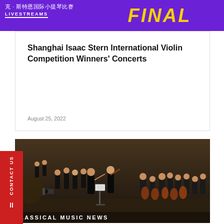克·斯特恩国际小提琴比赛 FINAL LIVESTREAMS
Shanghai Isaac Stern International Violin Competition Winners' Concerts
August 25, 2022
[Figure (photo): Orchestra performing on stage, conductor with violinist in foreground, musicians in black formal attire]
LASSICAL MUSIC NEWS